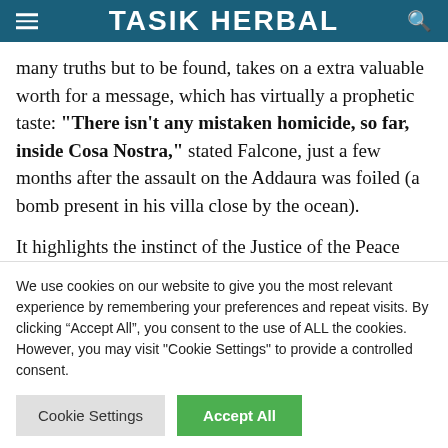TASIK HERBAL
many truths but to be found, takes on a extra valuable worth for a message, which has virtually a prophetic taste: “There isn’t any mistaken homicide, so far, inside Cosa Nostra,” stated Falcone, just a few months after the assault on the Addaura was foiled (a bomb present in his villa close by the ocean).
It highlights the instinct of the Justice of the Peace
We use cookies on our website to give you the most relevant experience by remembering your preferences and repeat visits. By clicking “Accept All”, you consent to the use of ALL the cookies. However, you may visit "Cookie Settings" to provide a controlled consent.